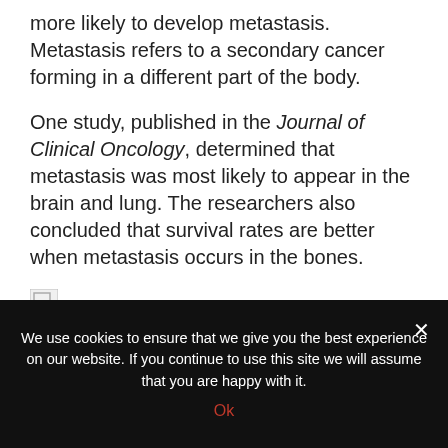more likely to develop metastasis. Metastasis refers to a secondary cancer forming in a different part of the body.
One study, published in the Journal of Clinical Oncology, determined that metastasis was most likely to appear in the brain and lung. The researchers also concluded that survival rates are better when metastasis occurs in the bones.
[Figure (other): Broken image placeholder (small icon with green triangle)]
Hormone therapies are not effective in treating triple-negative breast cancer. Instead, doctors focus on other
We use cookies to ensure that we give you the best experience on our website. If you continue to use this site we will assume that you are happy with it.
Ok